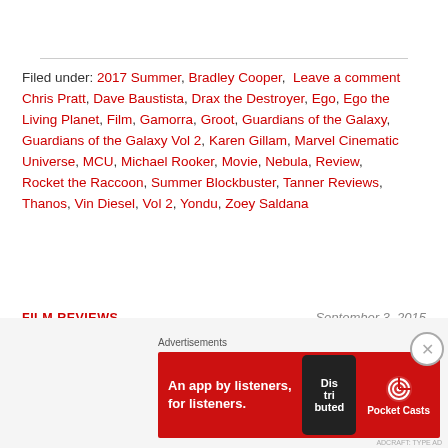Filed under: 2017 Summer, Bradley Cooper, Leave a comment Chris Pratt, Dave Baustista, Drax the Destroyer, Ego, Ego the Living Planet, Film, Gamorra, Groot, Guardians of the Galaxy, Guardians of the Galaxy Vol 2, Karen Gillam, Marvel Cinematic Universe, MCU, Michael Rooker, Movie, Nebula, Review, Rocket the Raccoon, Summer Blockbuster, Tanner Reviews, Thanos, Vin Diesel, Vol 2, Yondu, Zoey Saldana
FILM REVIEWS
September 3, 2015
Tanner Reviews Furious 7
[Figure (other): Pocket Casts advertisement banner: red background with phone graphic showing 'Dis tri buted' text, Pocket Casts logo and text 'An app by listeners, for listeners.']